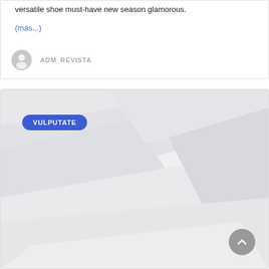versatile shoe must-have new season glamorous.
(más...)
ADM_REVISTA
[Figure (photo): Abstract white/light grey curved surface background with smooth geometric shapes, with a blue rounded pill badge labeled VULPUTATE in the upper left area, and a grey circular scroll-to-top button in the lower right corner.]